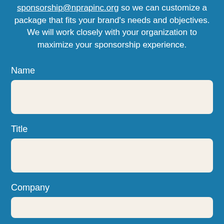sponsorship@nprapinc.org so we can customize a package that fits your brand's needs and objectives. We will work closely with your organization to maximize your sponsorship experience.
Name
Title
Company